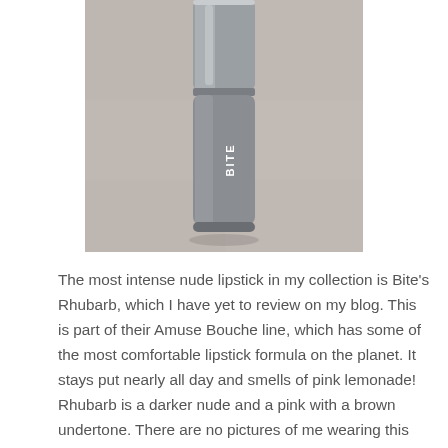[Figure (photo): A close-up photograph of a Bite Beauty lipstick in a grey metallic tube lying on a grey carpet/fabric surface. The word 'BITE' is visible on the tube.]
The most intense nude lipstick in my collection is Bite's Rhubarb, which I have yet to review on my blog. This is part of their Amuse Bouche line, which has some of the most comfortable lipstick formula on the planet. It stays put nearly all day and smells of pink lemonade! Rhubarb is a darker nude and a pink with a brown undertone. There are no pictures of me wearing this stunner just yet.